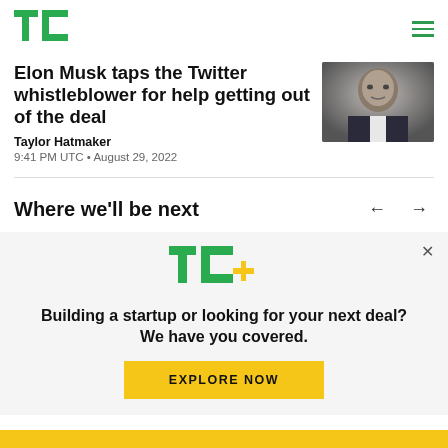TechCrunch
Elon Musk taps the Twitter whistleblower for help getting out of the deal
Taylor Hatmaker
9:41 PM UTC • August 29, 2022
[Figure (photo): Photo of Elon Musk in formal attire]
Where we'll be next
[Figure (logo): TC+ logo in green and yellow]
Building a startup or looking for your next deal? We have you covered.
EXPLORE NOW